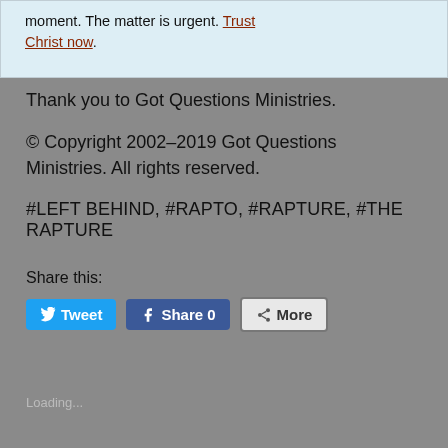moment. The matter is urgent. Trust Christ now.
Thank you to Got Questions Ministries.
© Copyright 2002–2019 Got Questions Ministries. All rights reserved.
#LEFT BEHIND, #RAPTO, #RAPTURE, #THE RAPTURE
Share this:
[Figure (screenshot): Social share buttons: Tweet (Twitter, blue), Share 0 (Facebook, dark blue), More (grey with share icon)]
Loading...